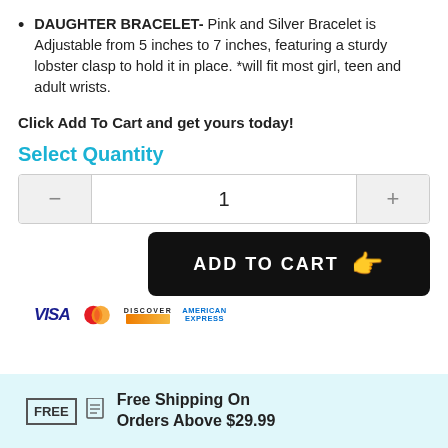DAUGHTER BRACELET- Pink and Silver Bracelet is Adjustable from 5 inches to 7 inches, featuring a sturdy lobster clasp to hold it in place. *will fit most girl, teen and adult wrists.
Click Add To Cart and get yours today!
Select Quantity
[Figure (other): Quantity selector UI with minus button, value '1', and plus button]
[Figure (other): ADD TO CART button with pointing hand emoji, black background]
[Figure (other): Payment method logos: VISA, Mastercard, Discover, American Express]
[Figure (other): Free Shipping On Orders Above $29.99 banner with FREE document icon on light blue background]